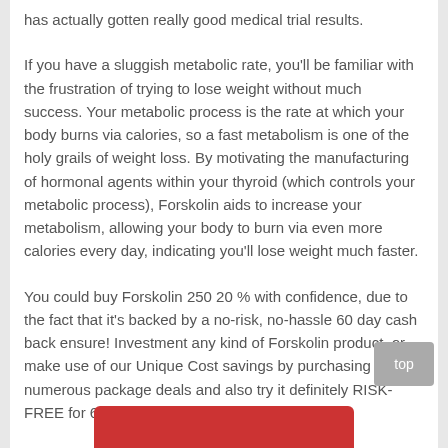has actually gotten really good medical trial results.
If you have a sluggish metabolic rate, you'll be familiar with the frustration of trying to lose weight without much success. Your metabolic process is the rate at which your body burns via calories, so a fast metabolism is one of the holy grails of weight loss. By motivating the manufacturing of hormonal agents within your thyroid (which controls your metabolic process), Forskolin aids to increase your metabolism, allowing your body to burn via even more calories every day, indicating you'll lose weight much faster.
You could buy Forskolin 250 20 % with confidence, due to the fact that it's backed by a no-risk, no-hassle 60 day cash back ensure! Investment any kind of Forskolin product, or make use of our Unique Cost savings by purchasing numerous package deals and also try it definitely RISK-FREE for 60 days!